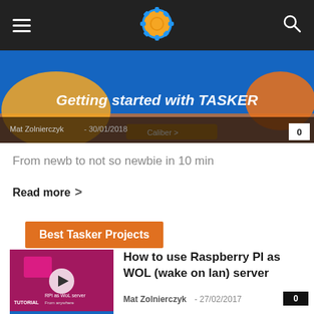[Figure (screenshot): Website navigation bar with hamburger menu, gear logo, and search icon on dark background]
[Figure (screenshot): Hero banner image with blue/orange design, article title 'Getting started with TASKER', byline 'Mat Zolnierczyk - 30/01/2018', and comment count 0]
From newb to not so newbie in 10 min
Read more >
Best Tasker Projects
[Figure (screenshot): Thumbnail for Raspberry PI WOL server tutorial with play button]
How to use Raspberry PI as WOL (wake on lan) server
Mat Zolnierczyk - 27/02/2017
[Figure (screenshot): Thumbnail for Bluetooth keyboard shortcuts article with play button]
7 awesome Bluetooth keyboard shortcuts for Android